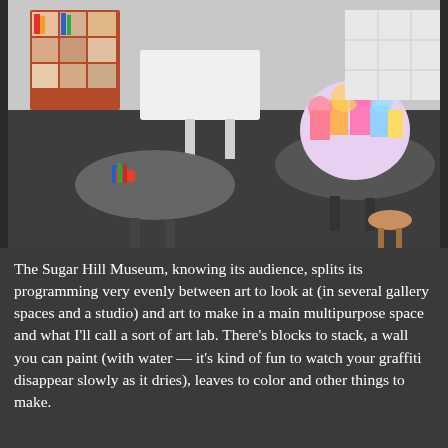[Figure (photo): Interior of Sugar Hill Museum showing an art studio/lab space with round tables, art supplies, colorful paper crafts, and cubby storage shelving in the background. Dark floor with white walls.]
The Sugar Hill Museum, knowing its audience, splits its programming very evenly between art to look at (in several gallery spaces and a studio) and art to make in a main multipurpose space and what I'll call a sort of art lab. There's blocks to stack, a wall you can paint (with water — it's kind of fun to watch your graffiti disappear slowly as it dries), leaves to color and other things to make.
[Figure (photo): Interior of Sugar Hill Museum showing a large framed artwork on a dark/black wall with a person standing in front of it, apparently examining the work. White ceiling visible above.]